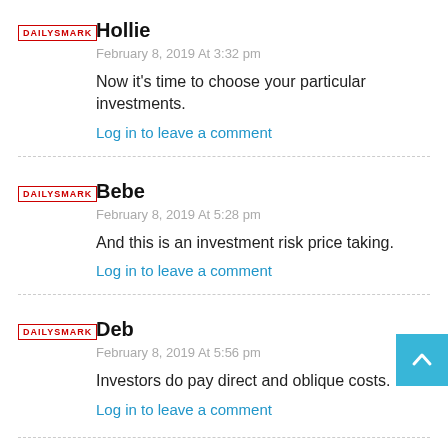[Figure (logo): DailySmark logo - red text in rectangle]
Hollie
February 8, 2019 At 3:32 pm
Now it's time to choose your particular investments.
Log in to leave a comment
[Figure (logo): DailySmark logo - red text in rectangle]
Bebe
February 8, 2019 At 5:28 pm
And this is an investment risk price taking.
Log in to leave a comment
[Figure (logo): DailySmark logo - red text in rectangle]
Deb
February 8, 2019 At 5:56 pm
Investors do pay direct and oblique costs.
Log in to leave a comment
[Figure (logo): DailySmark logo - red text in rectangle]
Ankara Escorts